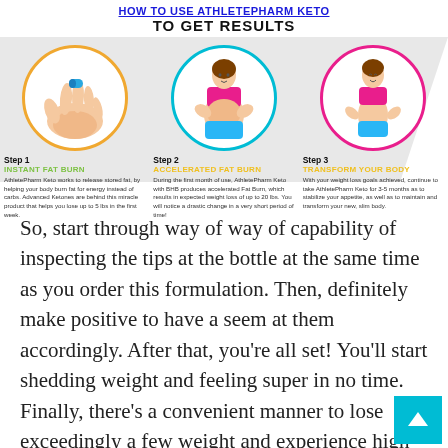HOW TO USE ATHLETEPHARM KETO TO GET RESULTS
[Figure (infographic): Three-step infographic showing how to use AthletePharm Keto. Step 1: Instant Fat Burn - hand holding a pill, orange circle. Step 2: Accelerated Fat Burn - woman grabbing belly fat, teal circle. Step 3: Transform Your Body - slimmer woman with hands on hips, pink circle.]
Step 1 INSTANT FAT BURN - AthletePharm Keto works to release stored fat, by helping your body burn fat for energy instead of carbs. Advanced Ketones are behind this miracle product that helps you lose up to 5 lbs in the first week.
Step 2 ACCELERATED FAT BURN - During the first month of use, AthletePharm Keto with BHB produces accelerated Fat Burn, which results in expected weight loss of up to 20 lbs. You will notice a drastic change in a very short period of time!
Step 3 TRANSFORM YOUR BODY - With your weight loss goals achieved, continue to take AthletePharm Keto for 3-5 months as to stabilize your appetite, as well as to maintain and transform your new, slim body.
So, start through way of way of capability of inspecting the tips at the bottle at the same time as you order this formulation. Then, definitely make positive to have a seem at them accordingly. After that, you’re all set! You’ll start shedding weight and feeling super in no time. Finally, there’s a convenient manner to lose exceedingly a few weight and experience high quality